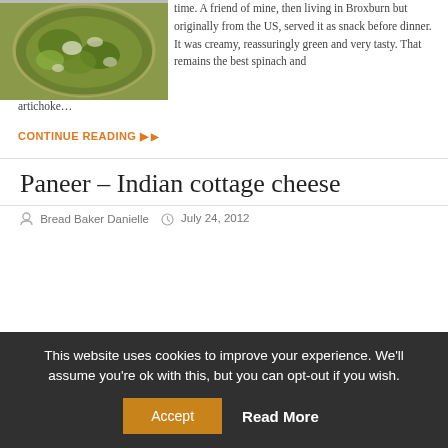[Figure (photo): A bowl of green spinach and artichoke dip, creamy and cheesy, viewed from above.]
time. A friend of mine, then living in Broxburn but originally from the US, served it as snack before dinner. It was creamy, reassuringly green and very tasty. That remains the best spinach and artichoke…
CONTINUE READING ▶
Paneer – Indian cottage cheese
Bread Baker Danielle   July 24, 2012
This website uses cookies to improve your experience. We'll assume you're ok with this, but you can opt-out if you wish.
Accept   Read More